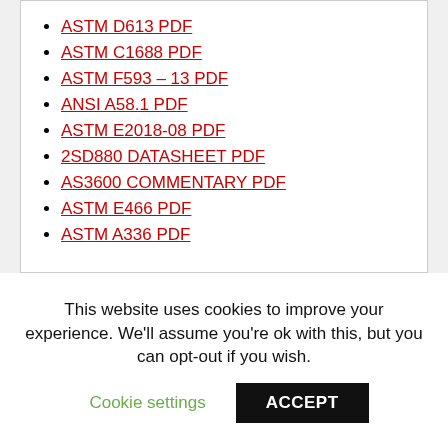ASTM D613 PDF
ASTM C1688 PDF
ASTM F593 – 13 PDF
ANSI A58.1 PDF
ASTM E2018-08 PDF
2SD880 DATASHEET PDF
AS3600 COMMENTARY PDF
ASTM E466 PDF
ASTM A336 PDF
This website uses cookies to improve your experience. We'll assume you're ok with this, but you can opt-out if you wish.
Cookie settings
ACCEPT